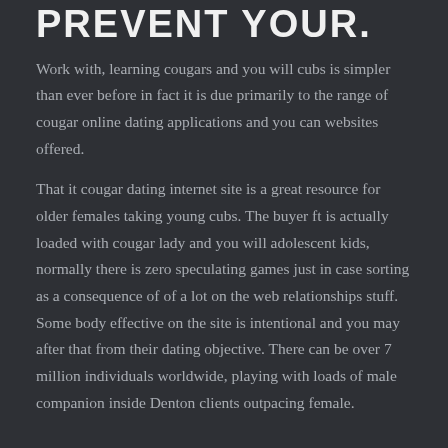PREVENT YOUR.
Work with, learning cougars and you will cubs is simpler than ever before in fact it is due primarily to the range of cougar online dating applications and you can websites offered.
That it cougar dating internet site is a great resource for older females taking young cubs. The buyer ft is actually loaded with cougar lady and you will adolescent kids, normally there is zero speculating games just in case sorting as a consequence of of a lot on the web relationships stuff. Some body effective on the site is intentional and you may after that from their dating objective. There can be over 7 million individuals worldwide, playing with loads of male companion inside Denton clients outpacing female.